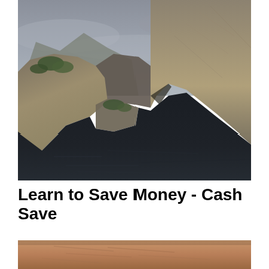[Figure (photo): Dramatic rocky coastal cliffs and mountains surrounding a dark fjord-like body of water under a cloudy grey sky. Rocky tan-colored cliffs rise steeply on both sides with some green vegetation visible.]
Learn to Save Money - Cash Save
[Figure (photo): Close-up of what appears to be an elderly person's wrinkled skin in warm tones, partially visible at the bottom of the page.]